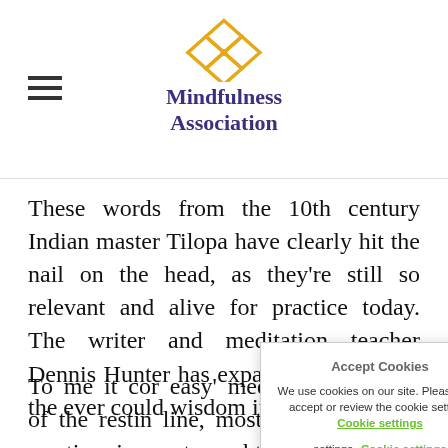Mindfulness Association
These words from the 10th century Indian master Tilopa have clearly hit the nail on the head, as they're still so relevant and alive for practice today. The writer and meditation teacher Dennis Hunter has expanded on each of the ever could wisdom if further...
To me it cor easy' medita of the restin line, most of my time is spent caught up in
[Figure (other): Cookie consent popup overlay with title 'Accept Cookies', body text 'We use cookies on our site. Please click accept or review the cookie settings', a 'Cookie settings' link in green, and an 'Accept' button in dark purple.]